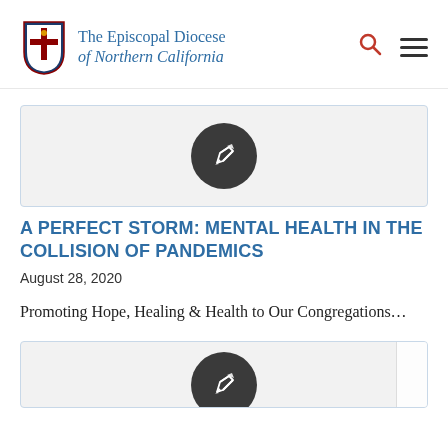The Episcopal Diocese of Northern California
[Figure (illustration): Article thumbnail card with dark pencil/edit icon on a light grey background with blue border]
A PERFECT STORM: MENTAL HEALTH IN THE COLLISION OF PANDEMICS
August 28, 2020
Promoting Hope, Healing & Health to Our Congregations…
[Figure (illustration): Second article thumbnail card with dark pencil/edit icon on a light grey background with blue border (partially visible)]